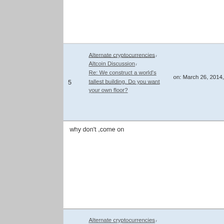5  Alternate cryptocurrencies / Altcoin Discussion / Re: We construct a world's tallest building. Do you want your own floor?  on: March 26, 2014, 05:16:32 AM
why don't ,come on
6  Alternate cryptocurrencies / Altcoin Discussion / Re: ♥ ♦ ♣ ♠ PhenixCoin Giveaway! 10 PXC each! 1000 in total! [ENDED!] ♠ ♣ ♦ ♥  on: March 26, 2014, 05:15:02 AM
i didn't got, why?  please tell me